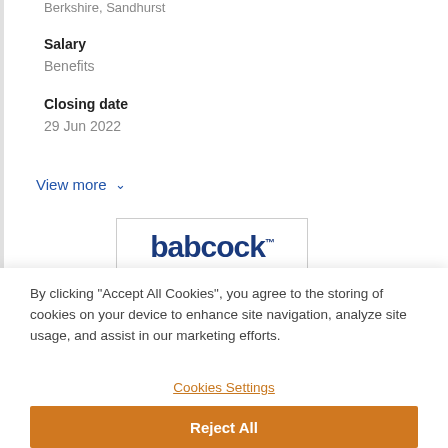Berkshire, Sandhurst
Salary
Benefits
Closing date
29 Jun 2022
View more ∨
[Figure (logo): Babcock logo in dark blue with TM mark]
By clicking "Accept All Cookies", you agree to the storing of cookies on your device to enhance site navigation, analyze site usage, and assist in our marketing efforts.
Cookies Settings
Reject All